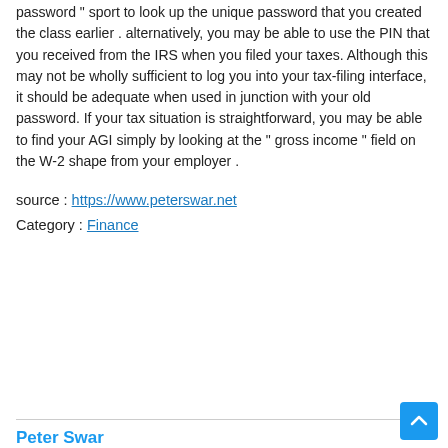password " sport to look up the unique password that you created the class earlier . alternatively, you may be able to use the PIN that you received from the IRS when you filed your taxes. Although this may not be wholly sufficient to log you into your tax-filing interface, it should be adequate when used in junction with your old password. If your tax situation is straightforward, you may be able to find your AGI simply by looking at the " gross income " field on the W-2 shape from your employer .
source : https://www.peterswar.net
Category : Finance
Peter Swar